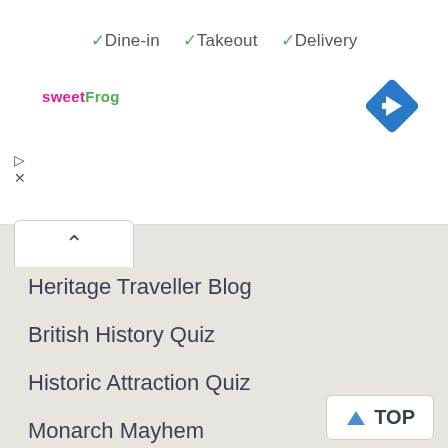✓ Dine-in  ✓ Takeout  ✓ Delivery
[Figure (logo): sweetFrog logo in pink and green text]
[Figure (other): Blue diamond-shaped navigation/directions icon with white arrow]
[Figure (other): Ad play and close (X) icons]
Heritage Traveller Blog
British History Quiz
Historic Attraction Quiz
Monarch Mayhem
This Day in British History
Useful stuff
Contact Us
Privacy
About Britain Express